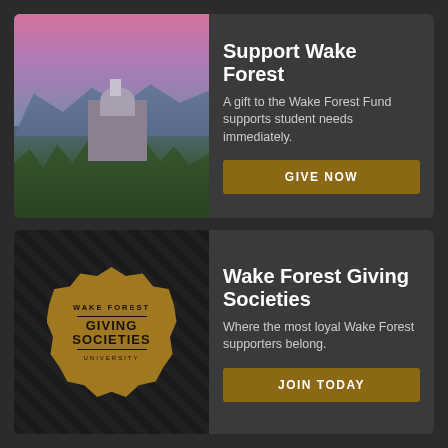[Figure (photo): Aerial dusk view of Wake Forest University campus with illuminated dome/cupola building against purple-pink sky and mountain silhouette]
Support Wake Forest
A gift to the Wake Forest Fund supports student needs immediately.
GIVE NOW
[Figure (logo): Wake Forest Giving Societies University badge/seal in gold on dark diamond-pattern background]
Wake Forest Giving Societies
Where the most loyal Wake Forest supporters belong.
JOIN TODAY